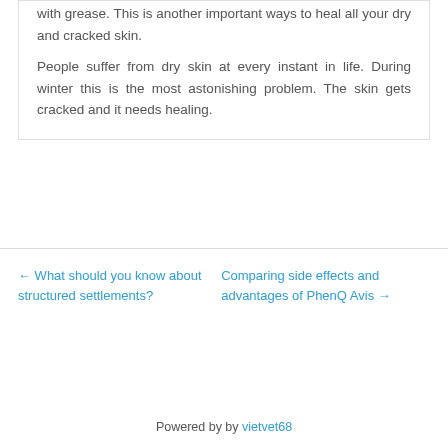with grease. This is another important ways to heal all your dry and cracked skin.
People suffer from dry skin at every instant in life. During winter this is the most astonishing problem. The skin gets cracked and it needs healing.
← What should you know about structured settlements?
Comparing side effects and advantages of PhenQ Avis →
Powered by by vietvet68